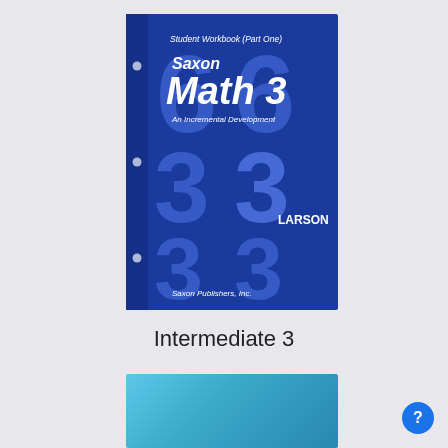[Figure (photo): Book cover of Saxon Math 3 Student Workbook (Part One) by Larson. Dark blue cover with large decorative '3' numerals in lighter blue. Text reads: Saxon Math 3, An Incremental Development, LARSON, Saxon Publishers, Inc.]
Intermediate 3
[Figure (photo): Bottom portion of a blue book cover, partially visible.]